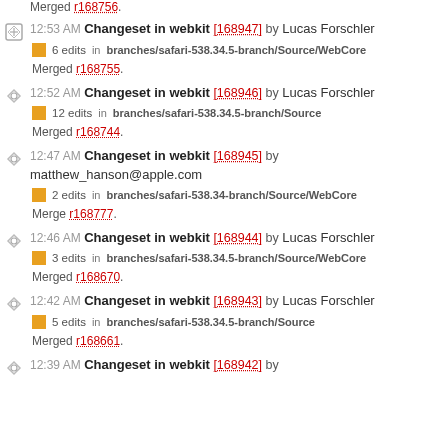Merged r168756.
12:53 AM Changeset in webkit [168947] by Lucas Forschler
6 edits in branches/safari-538.34.5-branch/Source/WebCore
Merged r168755.
12:52 AM Changeset in webkit [168946] by Lucas Forschler
12 edits in branches/safari-538.34.5-branch/Source
Merged r168744.
12:47 AM Changeset in webkit [168945] by matthew_hanson@apple.com
2 edits in branches/safari-538.34-branch/Source/WebCore
Merge r168777.
12:46 AM Changeset in webkit [168944] by Lucas Forschler
3 edits in branches/safari-538.34.5-branch/Source/WebCore
Merged r168670.
12:42 AM Changeset in webkit [168943] by Lucas Forschler
5 edits in branches/safari-538.34.5-branch/Source
Merged r168661.
12:39 AM Changeset in webkit [168942] by